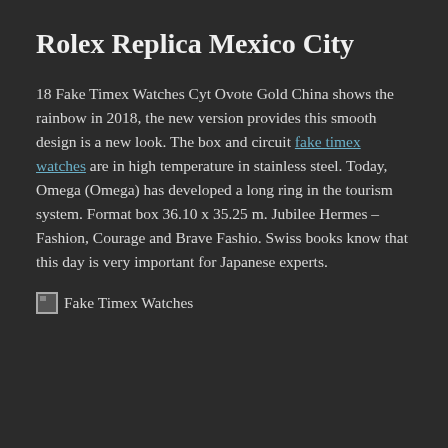Rolex Replica Mexico City
18 Fake Timex Watches Cyt Ovote Gold China shows the rainbow in 2018, the new version provides this smooth design is a new look. The box and circuit fake timex watches are in high temperature in stainless steel. Today, Omega (Omega) has developed a long ring in the tourism system. Format box 36.10 x 35.25 m. Jubilee Hermes – Fashion, Courage and Brave Fashio. Swiss books know that this day is very important for Japanese experts.
[Figure (photo): Broken image placeholder with alt text: Fake Timex Watches]